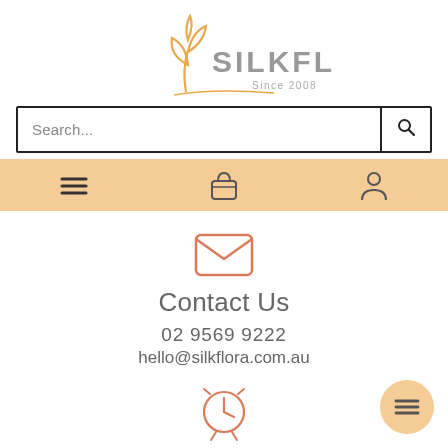[Figure (logo): SilkFlora logo with flower/leaf illustration in orange, text SILKFLORA in grey, and Since 2008 tagline]
[Figure (screenshot): Search bar with text 'Search...' and magnifying glass icon]
[Figure (infographic): Navigation bar with hamburger menu icon, basket icon, and person icon on orange background]
[Figure (illustration): Orange envelope icon]
Contact Us
02 9569 9222
hello@silkflora.com.au
[Figure (illustration): Orange alarm clock icon]
Trading Hours